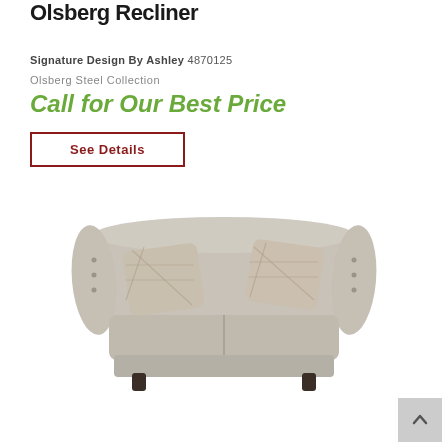Olsberg Recliner
Signature Design By Ashley 4870125
Olsberg Steel Collection
Call for Our Best Price
See Details
[Figure (photo): Gray leather loveseat/sofa with rolled arms, two plaid accent pillows, and dark wooden legs]